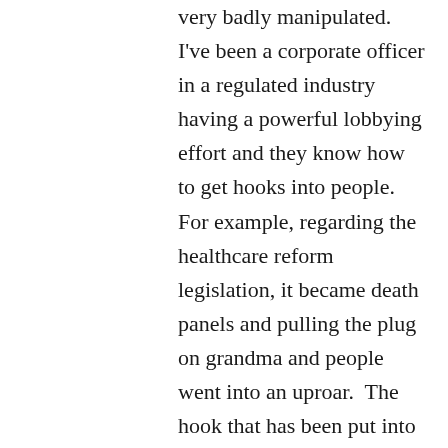very badly manipulated.  I've been a corporate officer in a regulated industry having a powerful lobbying effort and they know how to get hooks into people.  For example, regarding the healthcare reform legislation, it became death panels and pulling the plug on grandma and people went into an uproar.  The hook that has been put into you is that attempts to regulate a potentially